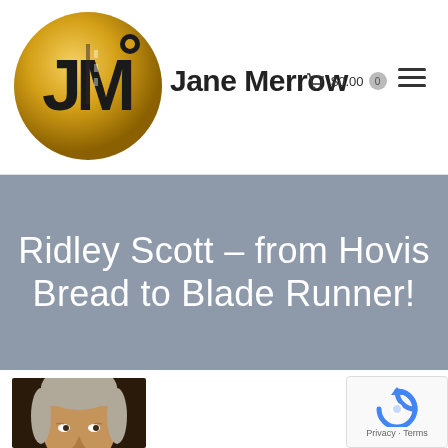Jane Merrow  $0.00  0
Ridley Scott – from Hovis Bread to Blade Runner!
[Figure (photo): Partial photo of Ridley Scott, an older man with grey-white hair, at the bottom left of the page]
[Figure (logo): reCAPTCHA widget with blue circular arrow logo and Privacy - Terms text]